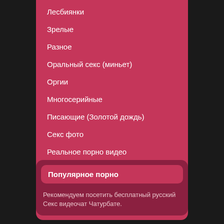Лесбиянки
Зрелые
Разное
Оральный секс (миньет)
Оргии
Многосерийные
Писающие (Золотой дождь)
Секс фото
Реальное порно видео
Трансы
Молоденькие
Экстрим секс
Популярное порно
Рекомендуем посетить бесплатный русский Секс видеочат Чатурбате.